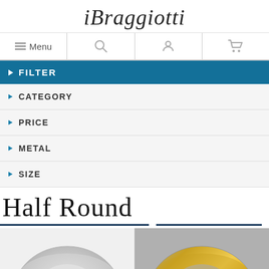iBraggiotti
Menu
FILTER
CATEGORY
PRICE
METAL
SIZE
Half Round
[Figure (photo): Two wedding bands displayed side by side: a silver/white gold half round band on the left, and a two-tone gold and silver half round band on the right.]